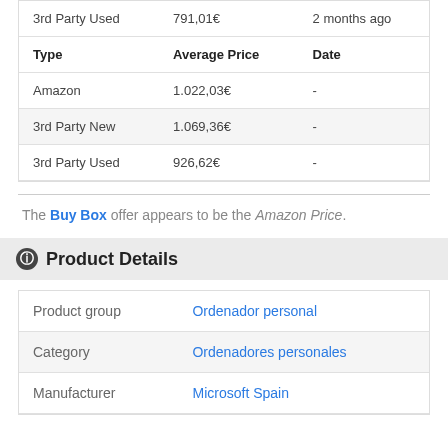| Type | Average Price | Date |
| --- | --- | --- |
| 3rd Party Used | 791,01€ | 2 months ago |
| Type | Average Price | Date |
| Amazon | 1.022,03€ | - |
| 3rd Party New | 1.069,36€ | - |
| 3rd Party Used | 926,62€ | - |
The Buy Box offer appears to be the Amazon Price.
Product Details
| Product group | Ordenador personal |
| Category | Ordenadores personales |
| Manufacturer | Microsoft Spain |